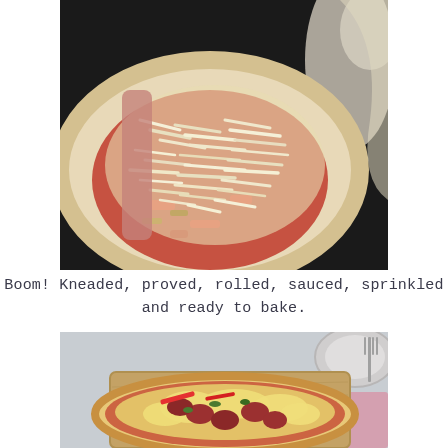[Figure (photo): Raw pizza dough on a dark baking tray topped with tomato sauce and shredded cheese, ready to be baked. Flour is visible on the tray edges.]
Boom! Kneaded, proved, rolled, sauced, sprinkled and ready to bake.
[Figure (photo): Baked pizza with melted golden cheese, salami, red pepper strips, and green toppings on a wooden board. A fork and pink napkin are visible in the background.]